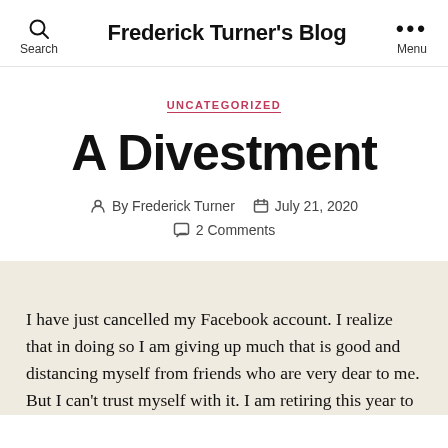Frederick Turner's Blog
UNCATEGORIZED
A Divestment
By Frederick Turner   July 21, 2020
2 Comments
I have just cancelled my Facebook account. I realize that in doing so I am giving up much that is good and distancing myself from friends who are very dear to me. But I can't trust myself with it. I am retiring this year to